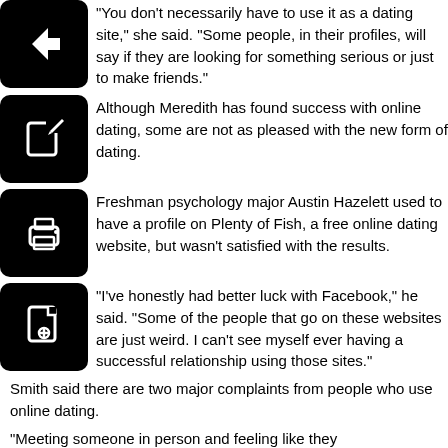“You don’t necessarily have to use it as a dating site,” she said. “Some people, in their profiles, will say if they are looking for something serious or just to make friends.”
Although Meredith has found success with online dating, some are not as pleased with the new form of dating.
Freshman psychology major Austin Hazelett used to have a profile on Plenty of Fish, a free online dating website, but wasn’t satisfied with the results.
“I’ve honestly had better luck with Facebook,” he said. “Some of the people that go on these websites are just weird. I can’t see myself ever having a successful relationship using those sites.”
Smith said there are two major complaints from people who use online dating.
“Meeting someone in person and feeling like they misrepresented themselves in their profile” is a problem, he said. “And (so is) uncomfortable or harassing contact on dating sites.”
Despite some of the negative feedback about online dating, Meredith is convinced otherwise.
“After I used it and met up with someone who I really like and